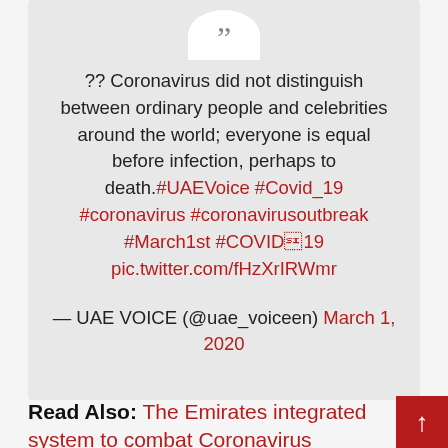?? Coronavirus did not distinguish between ordinary people and celebrities around the world; everyone is equal before infection, perhaps to death.#UAEVoice #Covid_19 #coronavirus #coronavirusoutbreak #March1st #COVID19 pic.twitter.com/fHzXrIRWmr
— UAE VOICE (@uae_voiceen) March 1, 2020
Read Also: The Emirates integrated system to combat Coronavirus